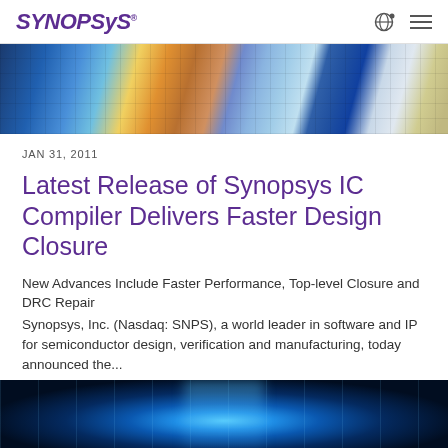Synopsys
[Figure (photo): Aerial view of colorful semiconductor chips/wafers arranged in a grid pattern]
JAN 31, 2011
Latest Release of Synopsys IC Compiler Delivers Faster Design Closure
New Advances Include Faster Performance, Top-level Closure and DRC Repair
Synopsys, Inc. (Nasdaq: SNPS), a world leader in software and IP for semiconductor design, verification and manufacturing, today announced the...
[Figure (photo): Data center corridor with blue glowing server racks]